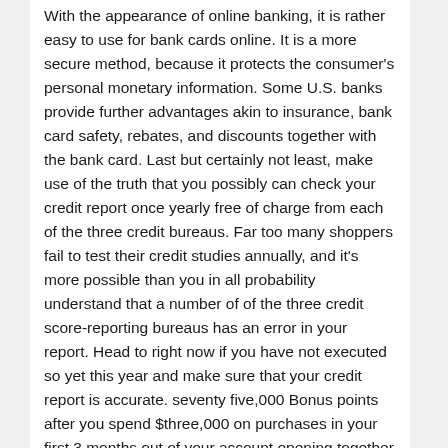With the appearance of online banking, it is rather easy to use for bank cards online. It is a more secure method, because it protects the consumer's personal monetary information. Some U.S. banks provide further advantages akin to insurance, bank card safety, rebates, and discounts together with the bank card. Last but certainly not least, make use of the truth that you possibly can check your credit report once yearly free of charge from each of the three credit bureaus. Far too many shoppers fail to test their credit studies annually, and it's more possible than you in all probability understand that a number of of the three credit score-reporting bureaus has an error in your report. Head to right now if you have not executed so yet this year and make sure that your credit report is accurate. seventy five,000 Bonus points after you spend $three,000 on purchases in your first 3 months out of your account opening together with your Marriott Bonvoy Boundless bank card. Enjoy travel packages at discounted rates along with your BDO Card. Avail at zero% curiosity for three months and pay 1 month later. Promo runs till December 31, 2019. Money management is just not an possibility, it is a necessity! Moreover, it is